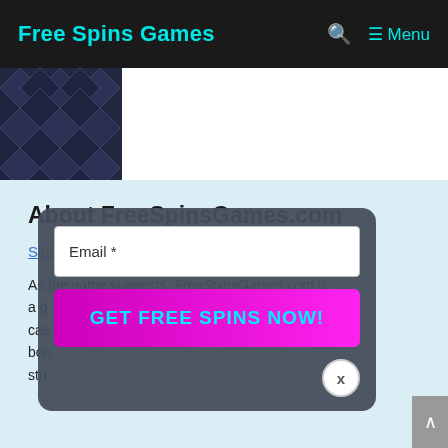Free Spins Games  🔍  ☰ Menu
[Figure (photo): Dark navy blue quilted diamond-pattern fabric texture image]
About FreeSpinsGames.com
Sitemap
As the name suggests, FreeSpinsGames.com is a g... cas... bon... stu...
[Figure (screenshot): Email signup modal overlay with Email * input field, GET FREE SPINS NOW! magenta button, and X close button]
Wo...